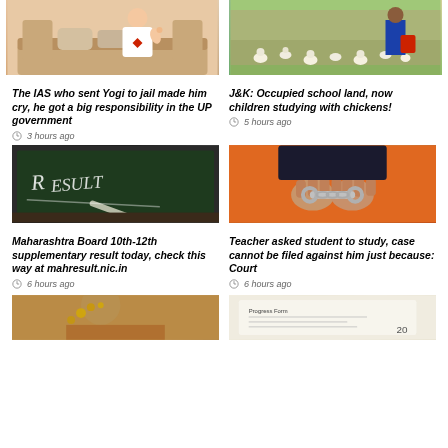[Figure (photo): Man in white t-shirt making an OK gesture, sitting on a couch]
The IAS who sent Yogi to jail made him cry, he got a big responsibility in the UP government
3 hours ago
[Figure (photo): Person standing among chickens in a farm/school building]
J&K: Occupied school land, now children studying with chickens!
5 hours ago
[Figure (photo): Chalkboard with the word RESULT written in chalk]
Maharashtra Board 10th-12th supplementary result today, check this way at mahresult.nic.in
6 hours ago
[Figure (photo): Hands in handcuffs, orange prisoner clothing visible]
Teacher asked student to study, case cannot be filed against him just because: Court
6 hours ago
[Figure (photo): Person wearing jewelry/accessories, partial view]
[Figure (photo): Document or paper with text, partially visible]